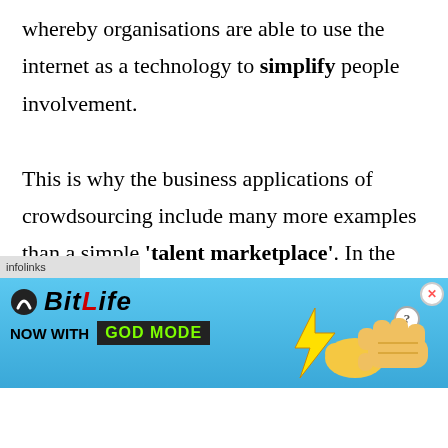whereby organisations are able to use the internet as a technology to simplify people involvement.

This is why the business applications of crowdsourcing include many more examples than a simple 'talent marketplace'. In the following section, we are going to discuss what alternative models can be employed to harness
[Figure (other): BitLife advertisement banner with 'NOW WITH GOD MODE' text, showing pointing hand graphics on a blue gradient background. Infolinks bar overlay at top.]